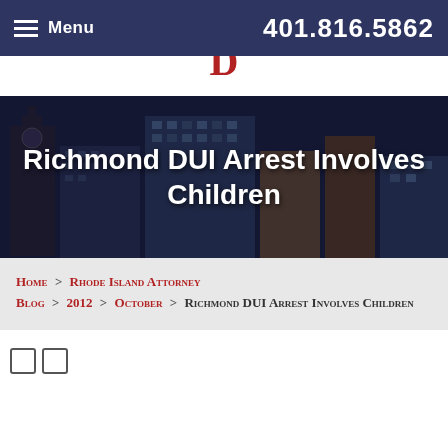Menu   401.816.5862
[Figure (screenshot): Partial red letter D logo at top center of page]
Richmond DUI Arrest Involves Children
Home > Rhode Island Attorney Blog > 2012 > October > Richmond DUI Arrest Involves Children
[Figure (other): Two small social media icon boxes]